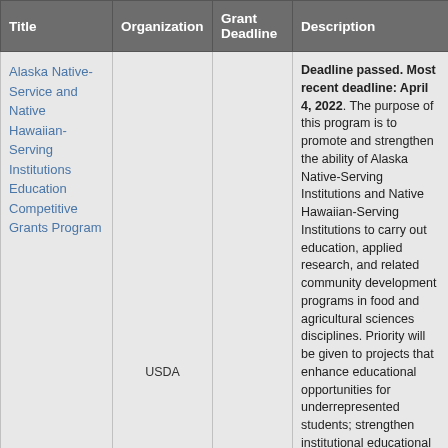| Title | Organization | Grant Deadline | Description |
| --- | --- | --- | --- |
| Alaska Native-Service and Native Hawaiian-Serving Institutions Education Competitive Grants Program | USDA |  | Deadline passed. Most recent deadline: April 4, 2022. The purpose of this program is to promote and strengthen the ability of Alaska Native-Serving Institutions and Native Hawaiian-Serving Institutions to carry out education, applied research, and related community development programs in food and agricultural sciences disciplines. Priority will be given to projects that enhance educational opportunities for underrepresented students; strengthen institutional educational capacity; prepare students for careers related to food, agricultural, and natural resource systems of the United States; and maximize the development and use of resources to improve food and agricultural sciences teaching programs. Learn more here. |
|  |  |  | Deadline Passed 05/06/2019. Unknown for 2020. The purp... |